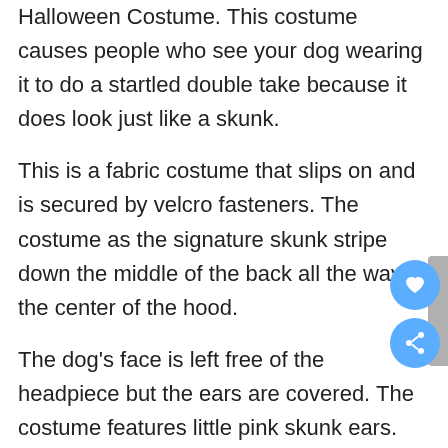Halloween Costume. This costume causes people who see your dog wearing it to do a startled double take because it does look just like a skunk.
This is a fabric costume that slips on and is secured by velcro fasteners. The costume as the signature skunk stripe down the middle of the back all the way to the center of the hood.
The dog's face is left free of the headpiece but the ears are covered. The costume features little pink skunk ears. This costume is so cute and funny that everyone will love it.